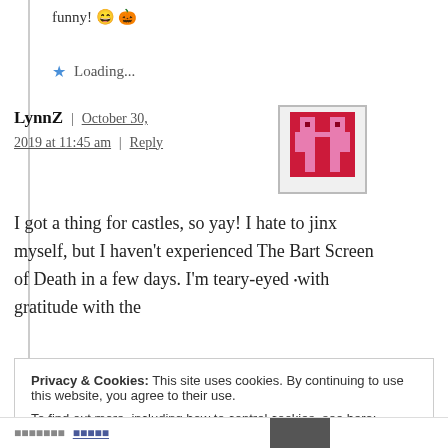funny! 😄 🎃
⭐ Loading...
LynnZ | October 30, 2019 at 11:45 am | Reply
[Figure (photo): Pixel art avatar in red and pink tones on white background]
I got a thing for castles, so yay! I hate to jinx myself, but I haven't experienced The Bart Screen of Death in a few days. I'm teary-eyed •with gratitude with the
Privacy & Cookies: This site uses cookies. By continuing to use this website, you agree to their use. To find out more, including how to control cookies, see here: Cookie Policy
Close and accept